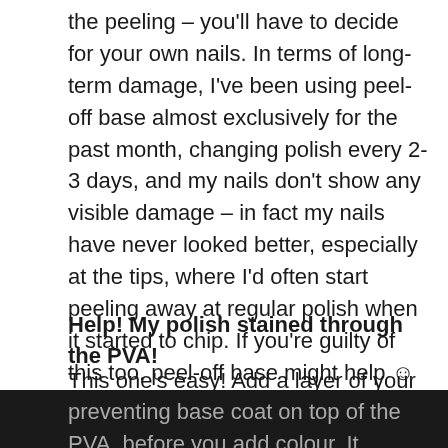the peeling – you'll have to decide for your own nails. In terms of long-term damage, I've been using peel-off base almost exclusively for the past month, changing polish every 2-3 days, and my nails don't show any visible damage – in fact my nails have never looked better, especially at the tips, where I'd often start peeling away at regular polish when it started to chip. If you're guilty of this too, peel-off base might help ☺
Help! My polish stained through the PVA!
This one's easy! Add a layer of your regular stain-preventing base coat on top of the PVA, before you add colour. It doesn't work so well the other way